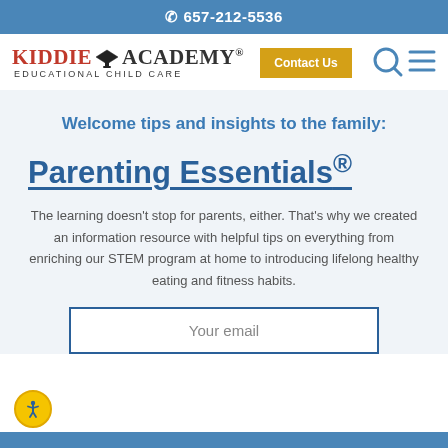657-212-5536
[Figure (logo): Kiddie Academy Educational Child Care logo with graduation cap icon]
[Figure (other): Contact Us yellow button]
[Figure (other): Search and hamburger menu icons]
Welcome tips and insights to the family:
Parenting Essentials®
The learning doesn't stop for parents, either. That's why we created an information resource with helpful tips on everything from enriching our STEM program at home to introducing lifelong healthy eating and fitness habits.
Your email